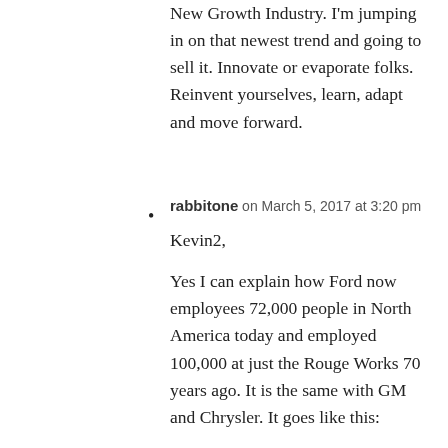New Growth Industry. I'm jumping in on that newest trend and going to sell it. Innovate or evaporate folks. Reinvent yourselves, learn, adapt and move forward.
rabbitone on March 5, 2017 at 3:20 pm

Kevin2,

Yes I can explain how Ford now employees 72,000 people in North America today and employed 100,000 at just the Rouge Works 70 years ago. It is the same with GM and Chrysler. It goes like this:

The big 3 auto companies in the 1920s to the late 1960s had one objective – be a turn key business.